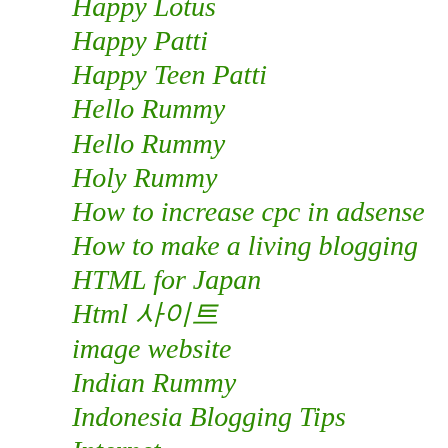Happy Lotus
Happy Patti
Happy Teen Patti
Hello Rummy
Hello Rummy
Holy Rummy
How to increase cpc in adsense
How to make a living blogging
HTML for Japan
Html 사이트
image website
Indian Rummy
Indonesia Blogging Tips
Internet
Joy Rummy
Kash Rummy
King Rummy